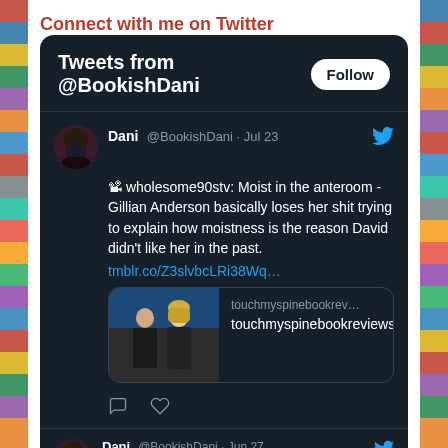Connect with me on Twitter
[Figure (screenshot): Twitter widget showing tweets from @BookishDani with a Follow button, a tweet by Dani @BookishDani dated Jul 23 about wholesome90stv and Gillian Anderson, with an embedded link card to touchmyspinebookreviews, and a second tweet preview dated Jun 27]